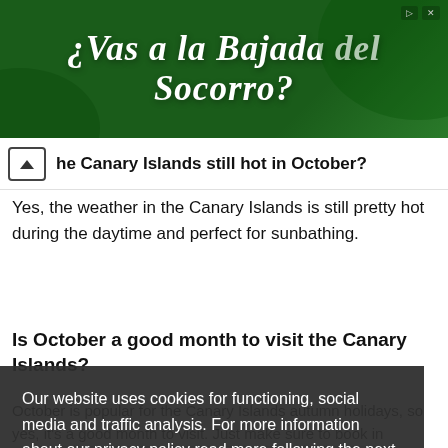[Figure (other): Green advertisement banner with bold white italic text '¿Vas a la Bajada del Socorro?' on dark green background with decorative icons top right]
he Canary Islands still hot in October?
Yes, the weather in the Canary Islands is still pretty hot during the daytime and perfect for sunbathing.
Is October a good month to visit the Canary Islands?
Our website uses cookies for functioning, social media and traffic analysis. For more information about our privacy policy read more following the next link. Find out more
I understand!